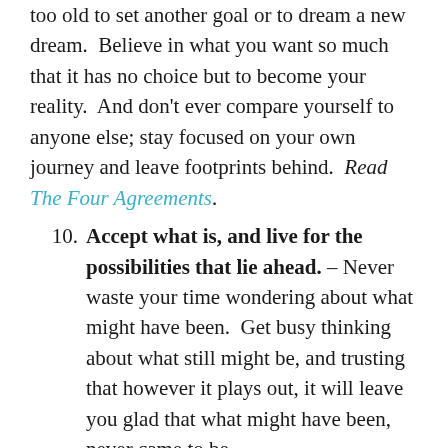too old to set another goal or to dream a new dream.  Believe in what you want so much that it has no choice but to become your reality.  And don't ever compare yourself to anyone else; stay focused on your own journey and leave footprints behind.  Read The Four Agreements.
10. Accept what is, and live for the possibilities that lie ahead. – Never waste your time wondering about what might have been.  Get busy thinking about what still might be, and trusting that however it plays out, it will leave you glad that what might have been, never came to be.